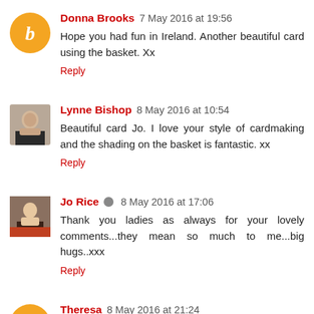Donna Brooks 7 May 2016 at 19:56
Hope you had fun in Ireland. Another beautiful card using the basket. Xx
Reply
Lynne Bishop 8 May 2016 at 10:54
Beautiful card Jo. I love your style of cardmaking and the shading on the basket is fantastic. xx
Reply
Jo Rice 8 May 2016 at 17:06
Thank you ladies as always for your lovely comments...they mean so much to me...big hugs..xxx
Reply
Theresa 8 May 2016 at 21:24